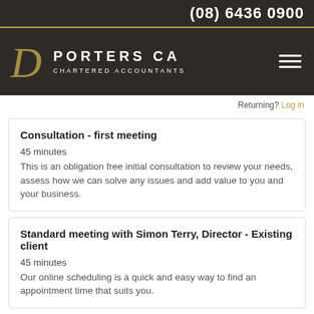(08) 6436 0900
[Figure (logo): Porters CA Chartered Accountants logo with golden D monogram on dark background]
Returning? Log in
Consultation - first meeting
45 minutes
This is an obligation free initial consultation to review your needs, assess how we can solve any issues and add value to you and your business.
Standard meeting with Simon Terry, Director - Existing client
45 minutes
Our online scheduling is a quick and easy way to find an appointment time that suits you.